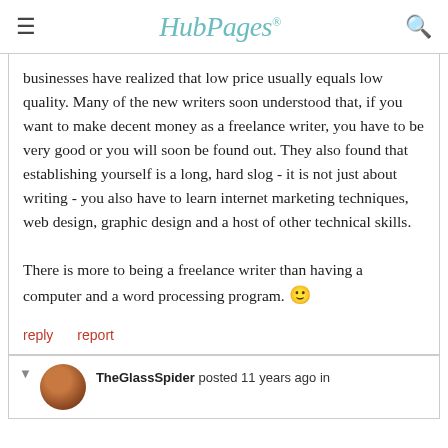HubPages
businesses have realized that low price usually equals low quality. Many of the new writers soon understood that, if you want to make decent money as a freelance writer, you have to be very good or you will soon be found out. They also found that establishing yourself is a long, hard slog - it is not just about writing - you also have to learn internet marketing techniques, web design, graphic design and a host of other technical skills.

There is more to being a freelance writer than having a computer and a word processing program. 🙂
reply   report
TheGlassSpider posted 11 years ago in